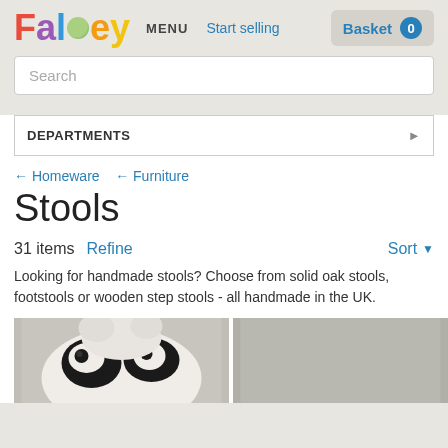[Figure (logo): Folksy colorful logo with letters in red, purple, blue, green, orange, yellow]
MENU
Start selling
Basket 0
Search
DEPARTMENTS
← Homeware   ← Furniture
Stools
31 items   Refine   Sort
Looking for handmade stools? Choose from solid oak stools, footstools or wooden step stools - all handmade in the UK.
[Figure (photo): Black and white cow/dog product image]
[Figure (photo): Gray background product image]